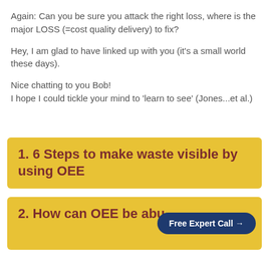Again: Can you be sure you attack the right loss, where is the major LOSS (=cost quality delivery) to fix?
Hey, I am glad to have linked up with you (it's a small world these days).
Nice chatting to you Bob!
I hope I could tickle your mind to 'learn to see' (Jones...et al.)
1. 6 Steps to make waste visible by using OEE
2. How can OEE be abu...